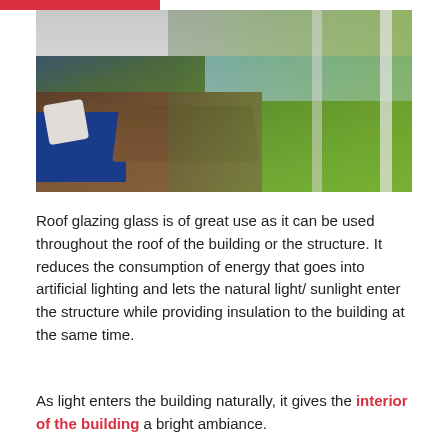[Figure (photo): Interior photo of a modern glazed building/conservatory with blue seating, wooden deck/table, large glass panels/windows looking out to green lawn and sky]
Roof glazing glass is of great use as it can be used throughout the roof of the building or the structure. It reduces the consumption of energy that goes into artificial lighting and lets the natural light/ sunlight enter the structure while providing insulation to the building at the same time.
As light enters the building naturally, it gives the interior of the building a bright ambiance.